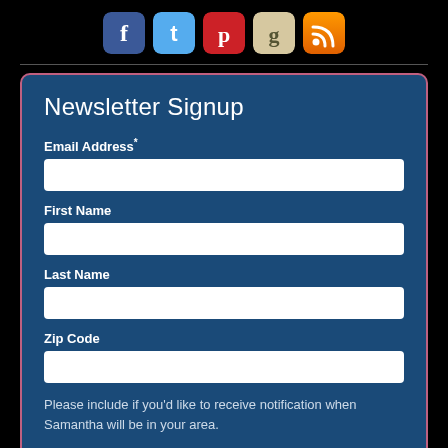[Figure (infographic): Row of 5 social media icons: Facebook (blue), Twitter (light blue), Pinterest (red), Goodreads (beige/tan), RSS (orange)]
Newsletter Signup
Email Address*
First Name
Last Name
Zip Code
Please include if you'd like to receive notification when Samantha will be in your area.